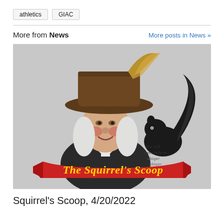athletics
GIAC
More from News
More posts in News »
[Figure (illustration): Illustrated logo showing a colonial-era figure wearing a wide-brimmed hat with a black squirrel on his shoulder. A red banner ribbon across the bottom reads 'The Squirrel's Scoop' in ornate script. Text whispers 'You will never believe... whisper whisper whisper' near the squirrel.]
Squirrel's Scoop, 4/20/2022